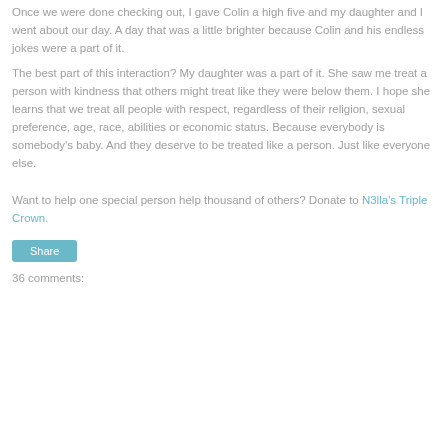Once we were done checking out, I gave Colin a high five and my daughter and I went about our day. A day that was a little brighter because Colin and his endless jokes were a part of it.
The best part of this interaction? My daughter was a part of it. She saw me treat a person with kindness that others might treat like they were below them. I hope she learns that we treat all people with respect, regardless of their religion, sexual preference, age, race, abilities or economic status. Because everybody is somebody's baby. And they deserve to be treated like a person. Just like everyone else.
Want to help one special person help thousand of others? Donate to N3lla's Triple Crown.
Share
36 comments: